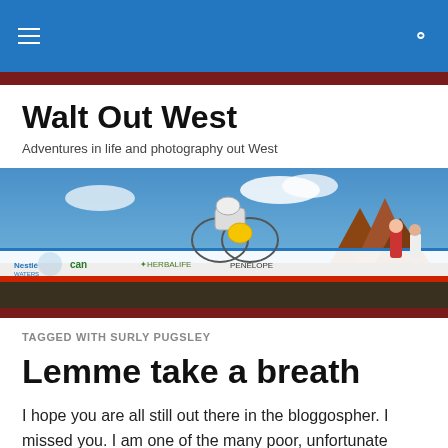Walt Out West
Adventures in life and photography out West
[Figure (photo): A cyclist in white racing kit rides a time-trial bicycle past a barrier with Nestlé, Cannondale, Herbalife, and other sponsor logos, with red rock formations and a cloudy blue sky in the background.]
TAGGED WITH SURLY PUGSLEY
Lemme take a breath
I hope you are all still out there in the bloggospher. I missed you. I am one of the many poor, unfortunate souls